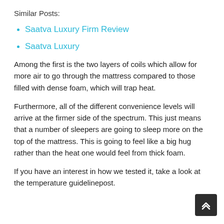Similar Posts:
Saatva Luxury Firm Review
Saatva Luxury
Among the first is the two layers of coils which allow for more air to go through the mattress compared to those filled with dense foam, which will trap heat.
Furthermore, all of the different convenience levels will arrive at the firmer side of the spectrum. This just means that a number of sleepers are going to sleep more on the top of the mattress. This is going to feel like a big hug rather than the heat one would feel from thick foam.
If you have an interest in how we tested it, take a look at the temperature guidelinepost.